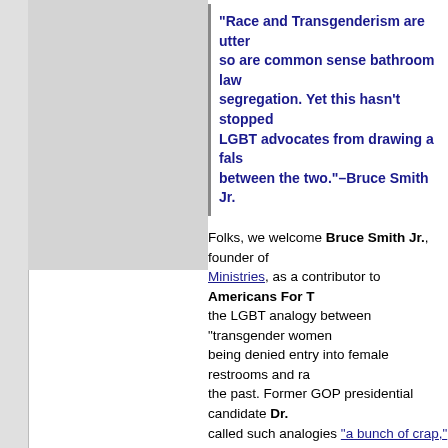“Race and Transgenderism are utter... so are common sense bathroom law... segregation. Yet this hasn’t stopped LGBT advocates from drawing a fals... between the two.”–Bruce Smith Jr.
Folks, we welcome Bruce Smith Jr., founder of Ministries, as a contributor to Americans For T... the LGBT analogy between “transgender women... being denied entry into female restrooms and ra... the past. Former GOP presidential candidate Dr.... called such analogies “a bunch of crap,” and we the author of the book, The Truth About Homos... encourage you to purchase.–Peter LaBarbera, @PeterLaBarbera
By Bruce Smith Jr.
We’re being lied to and the liars at the fore of the... their falsehoods are so obvious that it is impossi... attention and the liberals who actually believe th...
In any case, it is time to set the record straight o... based, and the liars that are perpetuating this ins...
Let’s begin with the term itself. The common libe... of the opposite sex. This is telling because it ass... body, which is a false assumption. Moreover, it e...